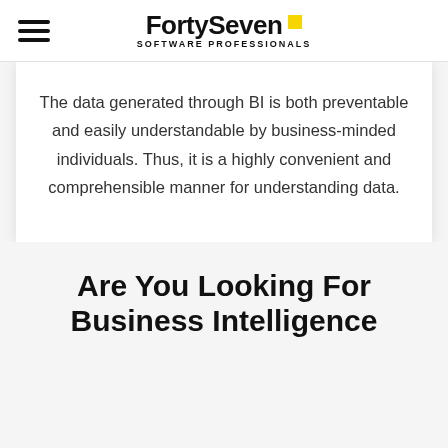FortySeven SOFTWARE PROFESSIONALS
The data generated through BI is both preventable and easily understandable by business-minded individuals. Thus, it is a highly convenient and comprehensible manner for understanding data.
Are You Looking For Business Intelligence